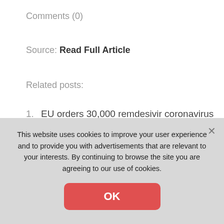Comments (0)
Source: Read Full Article
Related posts:
EU orders 30,000 remdesivir coronavirus treatments
Bispecific antibody exhibits high breadth and potency against SARS-CoV-2 Omicron sub-lineages
We trialled four at-home bikes. Here's our verdict
4. [partially visible]
This website uses cookies to improve your user experience and to provide you with advertisements that are relevant to your interests. By continuing to browse the site you are agreeing to our use of cookies.